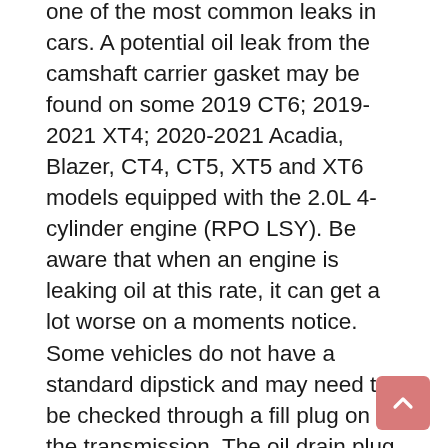one of the most common leaks in cars. A potential oil leak from the camshaft carrier gasket may be found on some 2019 CT6; 2019-2021 XT4; 2020-2021 Acadia, Blazer, CT4, CT5, XT5 and XT6 models equipped with the 2.0L 4-cylinder engine (RPO LSY). Be aware that when an engine is leaking oil at this rate, it can get a lot worse on a moments notice. Some vehicles do not have a standard dipstick and may need to be checked through a fill plug on the transmission. The oil drain plug, valve cover gasket, rear main seals, and any other oil seals and gaskets. If the fluid levels are below the full line, there may be a leak. If the fluid level does not hit the full line, there could be a leak. Even worse, strong burning odors and blue smoke indicate a possible fire hazard within the engine. The coolant overflow reservoir should indicate the coolant level. *. The brake system should be inspected and repaired immediately. Optimize fleet uptime and compliance via mobile vehicle repairs, Partner with us to simplify and scale fleet maintenance,